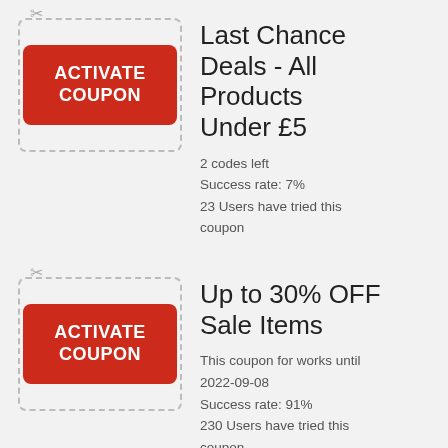[Figure (infographic): Red activate coupon button inside a dashed border box with scissors icon - Coupon 1]
Last Chance Deals - All Products Under £5
2 codes left
Success rate: 7%
23 Users have tried this coupon
[Figure (infographic): Red activate coupon button inside a dashed border box with scissors icon - Coupon 2]
Up to 30% OFF Sale Items
This coupon for works until 2022-09-08
Success rate: 91%
230 Users have tried this coupon